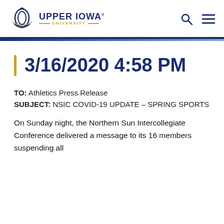Upper Iowa University
3/16/2020 4:58 PM
TO: Athletics Press Release
SUBJECT: NSIC COVID-19 UPDATE – SPRING SPORTS
On Sunday night, the Northern Sun Intercollegiate Conference delivered a message to its 16 members suspending all